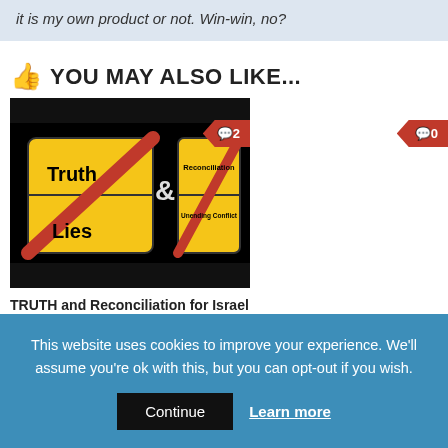it is my own product or not. Win-win, no?
YOU MAY ALSO LIKE...
[Figure (illustration): Book cover image showing two German-style road signs: one reading 'Truth / Lies' with a red diagonal slash, and another reading 'Reconciliation / Unending Conflict' with a red diagonal slash, connected by an ampersand symbol, on a black background.]
TRUTH and Reconciliation for Israel
OCTOBER 07, 2015
This website uses cookies to improve your experience. We'll assume you're ok with this, but you can opt-out if you wish.